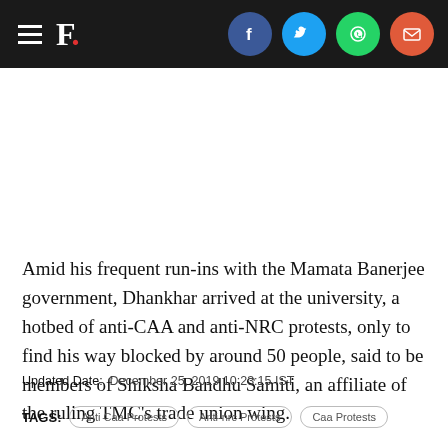F. [logo with social share icons: Facebook, Twitter, WhatsApp, Email]
Amid his frequent run-ins with the Mamata Banerjee government, Dhankhar arrived at the university, a hotbed of anti-CAA and anti-NRC protests, only to find his way blocked by around 50 people, said to be members of Shiksha Bandhu Samiti, an affiliate of the ruling TMC's trade union wing.
Updated Date:  December 25, 2019 10:23:15 IST
TAGS: Anti Caa Protests | Anti-nrc Protests | Caa Protests